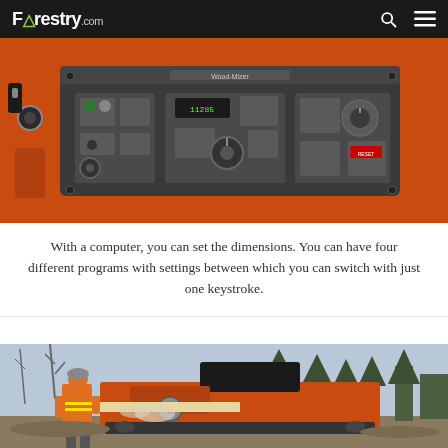Forestry.com
[Figure (photo): Close-up of a Wood-Mizer sawmill control panel with orange metal casing, featuring various buttons, dials, switches, and digital readouts on a dark gray panel.]
With a computer, you can set the dimensions. You can have four different programs with settings between which you can switch with just one keystroke.
[Figure (photo): Outdoor scene showing a worker in orange high-visibility clothing operating a large orange Wood-Mizer industrial sawmill on a construction/logging site with trees in the background and sawdust visible.]